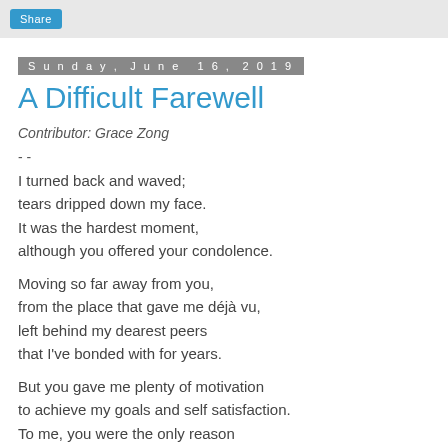Share
Sunday, June 16, 2019
A Difficult Farewell
Contributor: Grace Zong
- -
I turned back and waved;
tears dripped down my face.
It was the hardest moment,
although you offered your condolence.
Moving so far away from you,
from the place that gave me déjà vu,
left behind my dearest peers
that I've bonded with for years.
But you gave me plenty of motivation
to achieve my goals and self satisfaction.
To me, you were the only reason
that I became so passionate in this ...